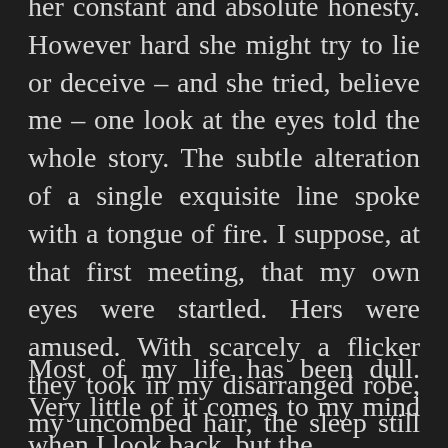her constant and absolute honesty. However hard she might try to lie or deceive – and she tried, believe me – one look at the eyes told the whole story. The subtle alteration of a single exquisite line spoke with a tongue of fire. I suppose, at that first meeting, that my own eyes were startled. Hers were amused. With scarcely a flicker they took in my disarranged robe, my uncombed hair, the sleep still in my eyes, the yawn still on my lips.
Most of my life has been dull. Very little of it comes to my mind when I look back, but the